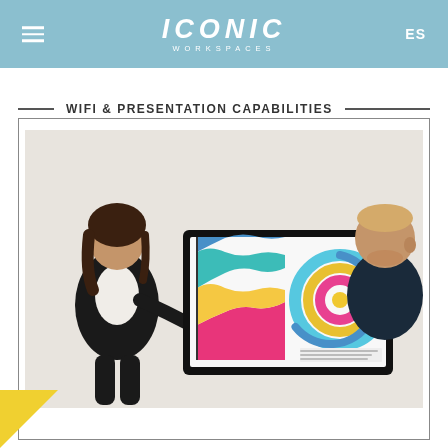ICONIC WORKSPACES — ES
WIFI & PRESENTATION CAPABILITIES
[Figure (photo): A woman presenting data charts on a large wall-mounted display screen to a colleague. The screen shows colorful area charts and a donut/spiral chart. Office presentation setting with light gray walls.]